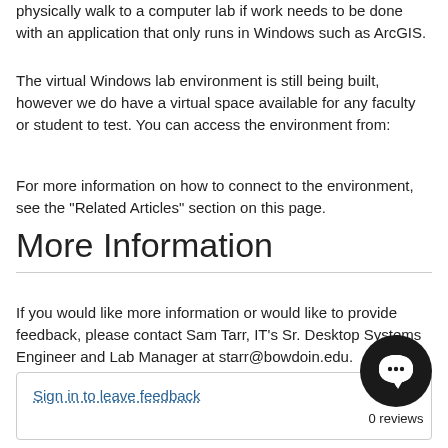physically walk to a computer lab if work needs to be done with an application that only runs in Windows such as ArcGIS.
The virtual Windows lab environment is still being built, however we do have a virtual space available for any faculty or student to test. You can access the environment from:
For more information on how to connect to the environment, see the "Related Articles" section on this page.
More Information
If you would like more information or would like to provide feedback, please contact Sam Tarr, IT's Sr. Desktop Systems Engineer and Lab Manager at starr@bowdoin.edu.
Sign in to leave feedback
0 reviews